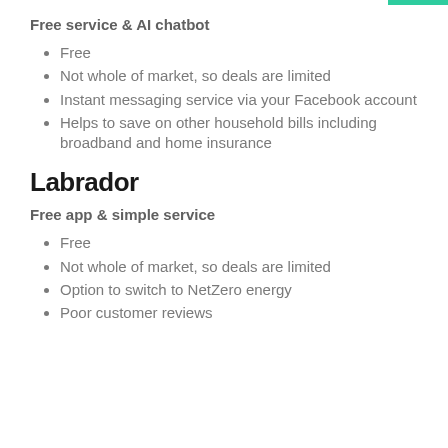Free service & AI chatbot
Free
Not whole of market, so deals are limited
Instant messaging service via your Facebook account
Helps to save on other household bills including broadband and home insurance
Labrador
Free app & simple service
Free
Not whole of market, so deals are limited
Option to switch to NetZero energy
Poor customer reviews